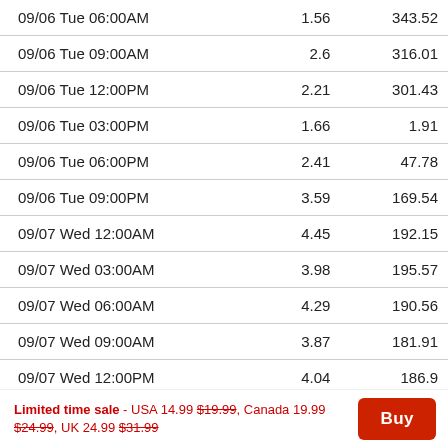| Date/Time | Col2 | Col3 |
| --- | --- | --- |
| 09/06 Tue 06:00AM | 1.56 | 343.52 |
| 09/06 Tue 09:00AM | 2.6 | 316.01 |
| 09/06 Tue 12:00PM | 2.21 | 301.43 |
| 09/06 Tue 03:00PM | 1.66 | 1.91 |
| 09/06 Tue 06:00PM | 2.41 | 47.78 |
| 09/06 Tue 09:00PM | 3.59 | 169.54 |
| 09/07 Wed 12:00AM | 4.45 | 192.15 |
| 09/07 Wed 03:00AM | 3.98 | 195.57 |
| 09/07 Wed 06:00AM | 4.29 | 190.56 |
| 09/07 Wed 09:00AM | 3.87 | 181.91 |
| 09/07 Wed 12:00PM | 4.04 | 186.9 |
| 09/07 Wed 03:00PM | 4.69 | 200.46 |
| 09/07 Wed 06:00PM | 4.54 | 180.79 |
| 09/07 Wed 09:00PM | 4.44 | 194.31 |
Limited time sale - USA 14.99 $19.99, Canada 19.99 $24.99, UK 24.99 $31.99